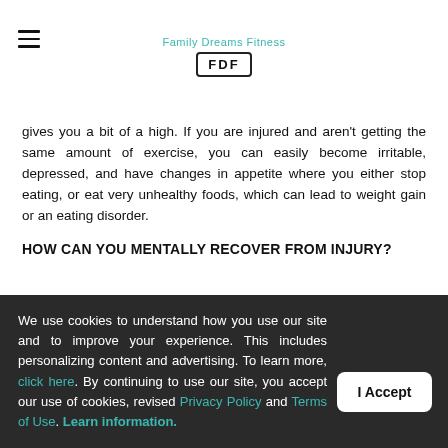Family Dreams Fitness FDF
gives you a bit of a high. If you are injured and aren't getting the same amount of exercise, you can easily become irritable, depressed, and have changes in appetite where you either stop eating, or eat very unhealthy foods, which can lead to weight gain or an eating disorder.
HOW CAN YOU MENTALLY RECOVER FROM INJURY?
We use cookies to understand how you use our site and to improve your experience. This includes personalizing content and advertising. To learn more, click here. By continuing to use our site, you accept our use of cookies, revised Privacy Policy and Terms of Use. Learn information.